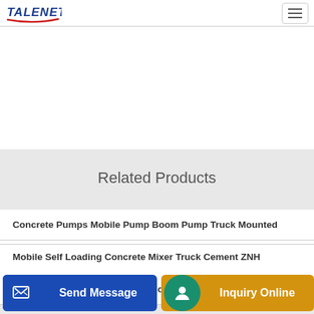TALENET
Related Products
Concrete Pumps Mobile Pump Boom Pump Truck Mounted
Concrete Mixer Truck Driver at The Middlesex Corporation
Dongfeng DFL5250GJBA 9 m³ Concrete Mixer Truck
Mobile Self Loading Concrete Mixer Truck Cement ZNH